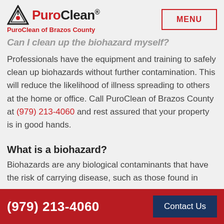PuroClean - PuroClean of Brazos County
Can I clean up the biohazard myself?
Professionals have the equipment and training to safely clean up biohazards without further contamination. This will reduce the likelihood of illness spreading to others at the home or office. Call PuroClean of Brazos County at (979) 213-4060 and rest assured that your property is in good hands.
What is a biohazard?
Biohazards are any biological contaminants that have the risk of carrying disease, such as those found in sewage,
(979) 213-4060  Contact Us